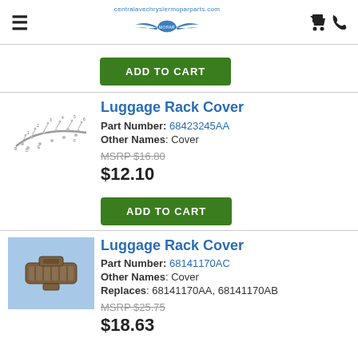centralavechryslermoparparts.com
[Figure (screenshot): Add to Cart green button at top of page]
Luggage Rack Cover
Part Number: 68423245AA
Other Names: Cover
MSRP $16.80
$12.10
[Figure (illustration): Line diagram of luggage rack cover part 68423245AA]
[Figure (screenshot): Add to Cart green button]
Luggage Rack Cover
Part Number: 68141170AC
Other Names: Cover
Replaces: 68141170AA, 68141170AB
MSRP $25.75
$18.63
[Figure (photo): Photo of luggage rack cover part 68141170AC, metallic bronze colored clip on blue background]